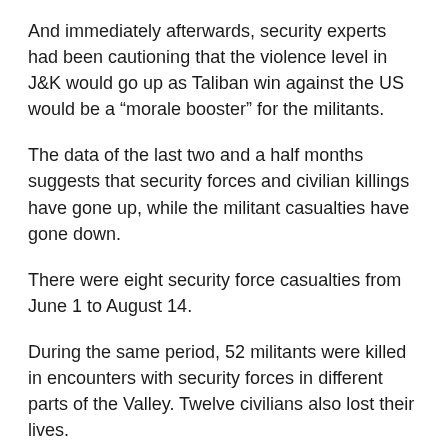And immediately afterwards, security experts had been cautioning that the violence level in J&K would go up as Taliban win against the US would be a “morale booster” for the militants.
The data of the last two and a half months suggests that security forces and civilian killings have gone up, while the militant casualties have gone down.
There were eight security force casualties from June 1 to August 14.
During the same period, 52 militants were killed in encounters with security forces in different parts of the Valley. Twelve civilians also lost their lives.
Of the 15 civilians killed in a two and a half months period in J&K after Taliban's takeover of Afghanistan, six were migrant skilled and unskilled labourers and three minority community members.